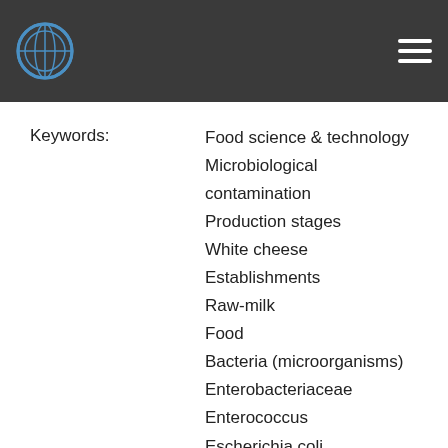Keywords: Food science & technology, Microbiological contamination, Production stages, White cheese, Establishments, Raw-milk, Food, Bacteria (microorganisms), Enterobacteriaceae, Enterococcus, Escherichia coli, Staphylococcus
Issue Date: 2006
Publisher: Elsevier Sci
Citation: Temelli, S. vd. (2006). "Determination of microbiological sources during Turkish white cheese production". Foo